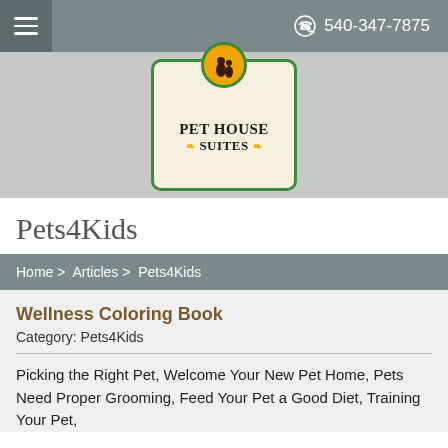☰  540-347-7875
[Figure (logo): Pet House Suites logo: a rounded rectangle with green border, cream background, orange circle on top with dog silhouettes, text PET HOUSE SUITES with paw prints]
Pets4Kids
Home > Articles > Pets4Kids
Wellness Coloring Book
Category: Pets4Kids
Picking the Right Pet, Welcome Your New Pet Home, Pets Need Proper Grooming, Feed Your Pet a Good Diet, Training Your Pet,